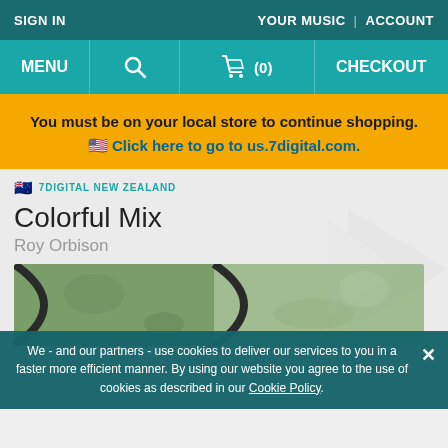SIGN IN | YOUR MUSIC | ACCOUNT
MENU | Search | Cart (0) | CHECKOUT
You must be on your local store to continue shopping. Click here to go to us.7digital.com.
🇳🇿 7DIGITAL NEW ZEALAND
Colorful Mix
Roy Orbison
[Figure (photo): Album art for Colorful Mix - green artistic image]
We - and our partners - use cookies to deliver our services to you in a faster more efficient manner. By using our website you agree to the use of cookies as described in our Cookie Policy.